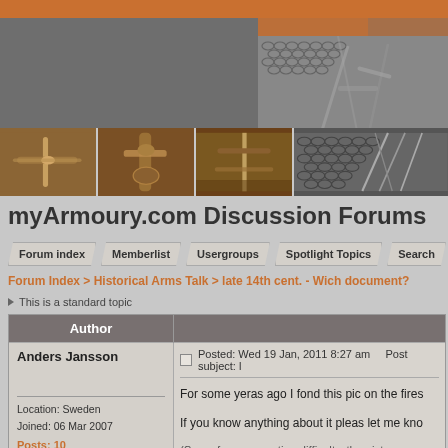myArmoury.com Discussion Forums
[Figure (photo): Website header banner with weapon/armour photos (swords, crossguards, chainmail) on brown/gray background]
myArmoury.com Discussion Forums
Forum index | Memberlist | Usergroups | Spotlight Topics | Search
Forum Index > Historical Arms Talk > late 14th cent. - Wich document?
This is a standard topic
| Author |  |
| --- | --- |
| Anders Jansson

Location: Sweden
Joined: 06 Mar 2007
Posts: 10 | Posted: Wed 19 Jan, 2011 8:27 am   Post subject: l

For some yeras ago I fond this pic on the fires

If you know anything about it pleas let me kno

(Some from a question difficulty, the picture a) |